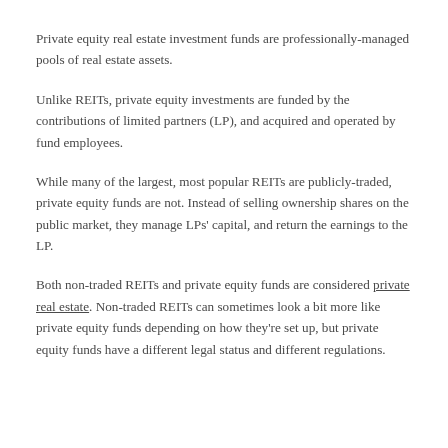Private equity real estate investment funds are professionally-managed pools of real estate assets.
Unlike REITs, private equity investments are funded by the contributions of limited partners (LP), and acquired and operated by fund employees.
While many of the largest, most popular REITs are publicly-traded, private equity funds are not. Instead of selling ownership shares on the public market, they manage LPs' capital, and return the earnings to the LP.
Both non-traded REITs and private equity funds are considered private real estate. Non-traded REITs can sometimes look a bit more like private equity funds depending on how they're set up, but private equity funds have a different legal status and different regulations.